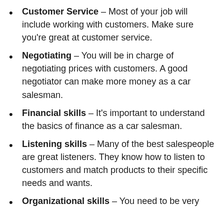Customer Service – Most of your job will include working with customers. Make sure you're great at customer service.
Negotiating – You will be in charge of negotiating prices with customers. A good negotiator can make more money as a car salesman.
Financial skills – It's important to understand the basics of finance as a car salesman.
Listening skills – Many of the best salespeople are great listeners. They know how to listen to customers and match products to their specific needs and wants.
Organizational skills – You need to be very